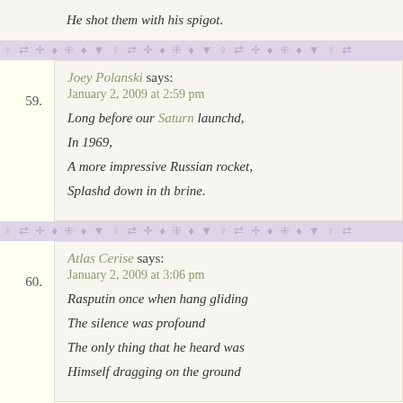He shot them with his spigot.
59. Joey Polanski says: January 2, 2009 at 2:59 pm
Long before our Saturn launchd,

In 1969,

A more impressive Russian rocket,

Splashd down in th brine.
60. Atlas Cerise says: January 2, 2009 at 3:06 pm
Rasputin once when hang gliding

The silence was profound

The only thing that he heard was

Himself dragging on the ground